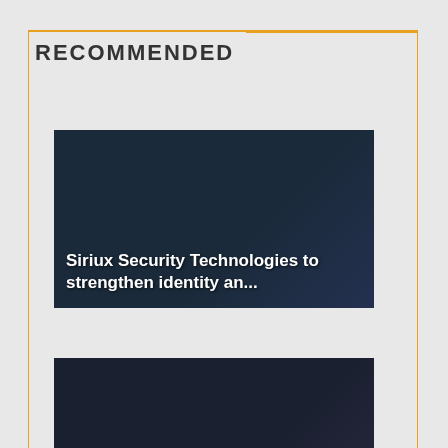RECOMMENDED
[Figure (screenshot): Article card with dark background: 'Siriux Security Technologies to strengthen identity an...']
[Figure (screenshot): Article card with dark background: 'G4S at IFSEC Global to showcase best of b...']
[Figure (infographic): Chatsworth Products advertisement: 'A New Cabinet Platform That Does it All & it Better'. Chatsworth Products presents the ZetaFrame Cabinet, its strongest,]
[Figure (logo): reCAPTCHA badge with Privacy and Terms text]
[Figure (logo): Orange circular MAG magazine badge with notification dot showing '1']